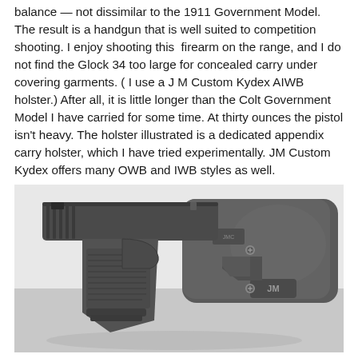balance — not dissimilar to the 1911 Government Model. The result is a handgun that is well suited to competition shooting. I enjoy shooting this firearm on the range, and I do not find the Glock 34 too large for concealed carry under covering garments. ( I use a J M Custom Kydex AIWB holster.) After all, it is little longer than the Colt Government Model I have carried for some time. At thirty ounces the pistol isn't heavy. The holster illustrated is a dedicated appendix carry holster, which I have tried experimentally. JM Custom Kydex offers many OWB and IWB styles as well.
[Figure (photo): A Glock 34 pistol inserted into a JM Custom Kydex appendix carry holster. The pistol and holster are both dark gray/black. The holster has visible mounting screws and a JM logo. The background is white/light gray.]